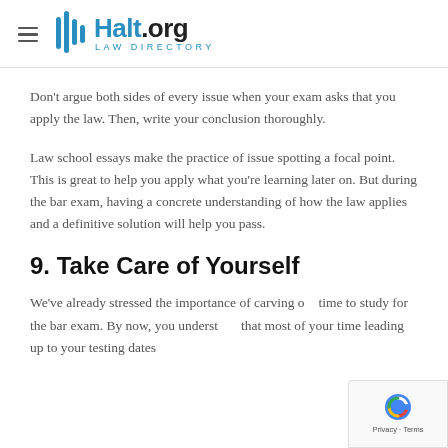Halt.org Law Directory
Don't argue both sides of every issue when your exam asks that you apply the law. Then, write your conclusion thoroughly.
Law school essays make the practice of issue spotting a focal point. This is great to help you apply what you're learning later on. But during the bar exam, having a concrete understanding of how the law applies and a definitive solution will help you pass.
9. Take Care of Yourself
We've already stressed the importance of carving out time to study for the bar exam. By now, you understand that most of your time leading up to your testing dates